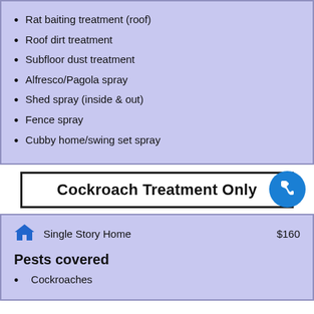Rat baiting treatment (roof)
Roof dirt treatment
Subfloor dust treatment
Alfresco/Pagola spray
Shed spray (inside & out)
Fence spray
Cubby home/swing set spray
Cockroach Treatment Only
Single Story Home   $160
Pests covered
Cockroaches